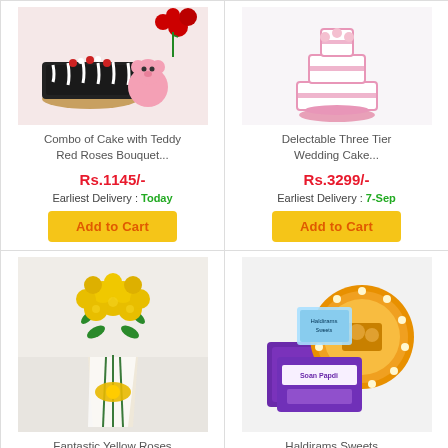[Figure (photo): Combo of cake with teddy and red roses bouquet product photo]
Combo of Cake with Teddy Red Roses Bouquet...
Rs.1145/-
Earliest Delivery : Today
Add to Cart
[Figure (photo): Delectable Three Tier Wedding Cake product photo]
Delectable Three Tier Wedding Cake...
Rs.3299/-
Earliest Delivery : 7-Sep
Add to Cart
[Figure (photo): Fantastic Yellow Roses Bouquet product photo]
Fantastic Yellow Roses Bouquet...
[Figure (photo): Haldirams Sweets product photo]
Haldirams Sweets...